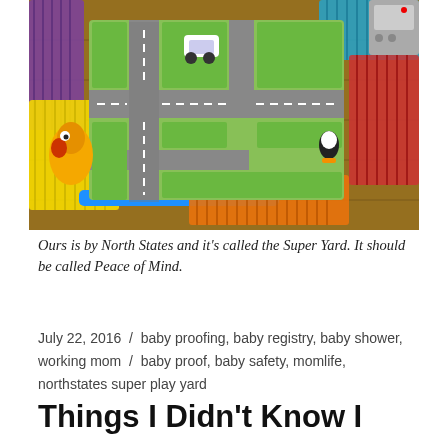[Figure (photo): Aerial view of a colorful children's play yard/playpen with a road map rug inside, toy car, stuffed animal toys, and a toy kitchen appliance. Colorful mesh fence panels in purple, yellow, blue, orange, red are visible around the perimeter on a wooden floor.]
Ours is by North States and it's called the Super Yard. It should be called Peace of Mind.
July 22, 2016  /  baby proofing, baby registry, baby shower, working mom  /  baby proof, baby safety, momlife, northstates super play yard
Things I Didn't Know I